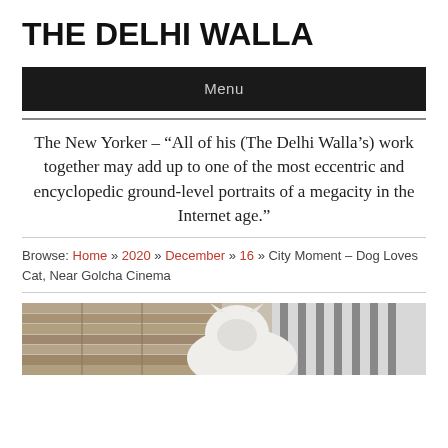THE DELHI WALLA
Menu
The New Yorker – “All of his (The Delhi Walla’s) work together may add up to one of the most eccentric and encyclopedic ground-level portraits of a megacity in the Internet age.”
Browse: Home » 2020 » December » 16 » City Moment – Dog Loves Cat, Near Golcha Cinema
[Figure (photo): Partial view of a white cat or animal near wooden boards and a striped surface, cropped at the bottom of the page]